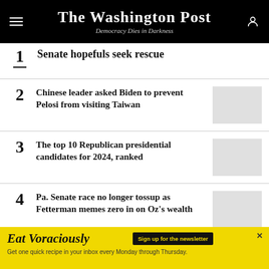The Washington Post — Democracy Dies in Darkness
1 Senate hopefuls seek rescue
2 Chinese leader asked Biden to prevent Pelosi from visiting Taiwan
3 The top 10 Republican presidential candidates for 2024, ranked
4 Pa. Senate race no longer tossup as Fetterman memes zero in on Oz's wealth
5 Could Sarah Palin have cost the GOP
Eat Voraciously — Sign up for the newsletter — Get one quick recipe in your inbox every Monday through Thursday.